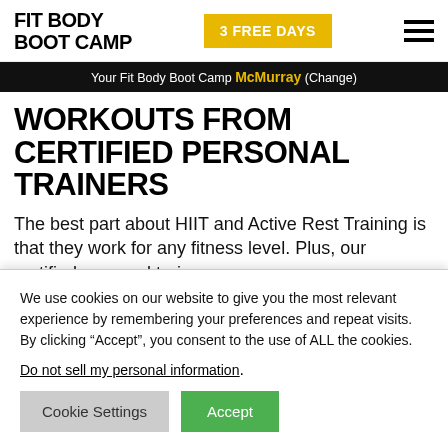FIT BODY BOOT CAMP | 3 FREE DAYS | [menu]
Your Fit Body Boot Camp McMurray (Change)
WORKOUTS FROM CERTIFIED PERSONAL TRAINERS
The best part about HIIT and Active Rest Training is that they work for any fitness level. Plus, our certified personal trainers -- or as we
We use cookies on our website to give you the most relevant experience by remembering your preferences and repeat visits. By clicking “Accept”, you consent to the use of ALL the cookies.
Do not sell my personal information.
Cookie Settings | Accept